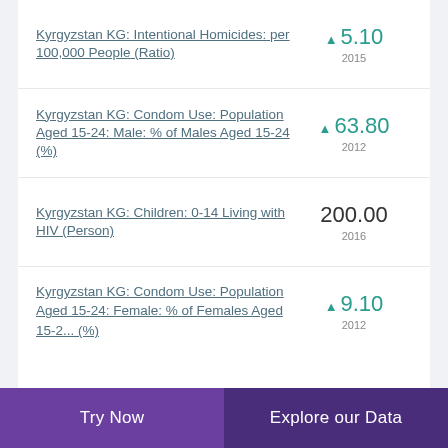Kyrgyzstan KG: Intentional Homicides: per 100,000 People (Ratio)
Kyrgyzstan KG: Condom Use: Population Aged 15-24: Male: % of Males Aged 15-24 (%)
Kyrgyzstan KG: Children: 0-14 Living with HIV (Person)
Kyrgyzstan KG: Condom Use: Population Aged 15-24: Female: % of Females Aged 15-2... (%)
Try Now | Explore our Data